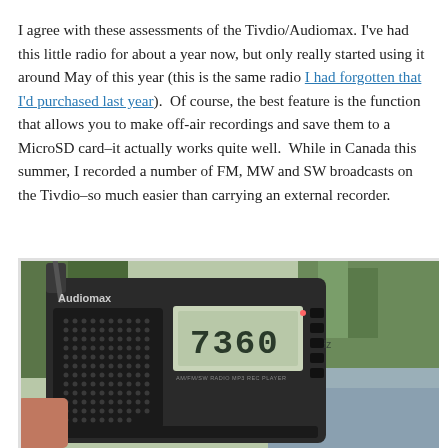I agree with these assessments of the Tivdio/Audiomax. I've had this little radio for about a year now, but only really started using it around May of this year (this is the same radio I had forgotten that I'd purchased last year).  Of course, the best feature is the function that allows you to make off-air recordings and save them to a MicroSD card–it actually works quite well.  While in Canada this summer, I recorded a number of FM, MW and SW broadcasts on the Tivdio–so much easier than carrying an external recorder.
[Figure (photo): Close-up photo of an Audiomax portable radio being held outdoors with trees in the background. The radio's LCD display shows '7360' frequency. The radio has a speaker grille on the left side and buttons on the right. Text on the radio reads 'Audiomax' and 'AM/FM/SW RADIO MP3 REC PLAYER'.]